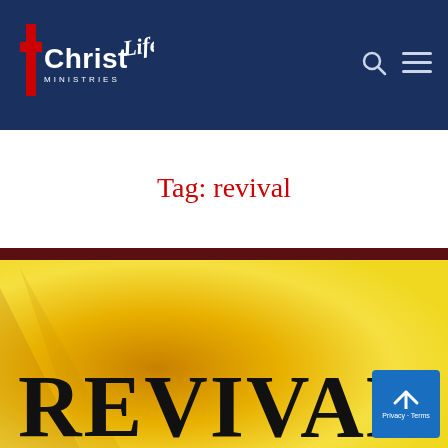[Figure (logo): Christ Life Ministries logo — red cross with white 'Christ' text and slanted 'Life' script in white, with 'MINISTRIES' text below, on dark navy background]
Tag: revival
[Figure (photo): A golden/yellow gradient background image with the word REVIVAL in large bold black serif text. A dark brownish-red bar runs across the top of the image.]